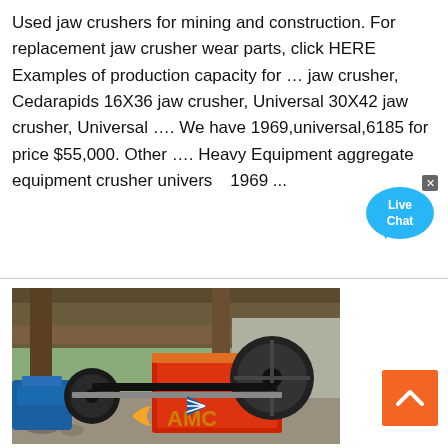Used jaw crushers for mining and construction. For replacement jaw crusher wear parts, click HERE Examples of production capacity for … jaw crusher, Cedarapids 16X36 jaw crusher, Universal 30X42 jaw crusher, Universal …. We have 1969,universal,6185 for price $55,000. Other …. Heavy Equipment aggregate equipment crusher universal 1969 ...
[Figure (photo): Photograph of a jaw crusher machine installation at a mining or construction site, showing the AMC logo watermark. The machine has red and orange components with a large flywheel, a blue electric motor on the left, and a metal frame structure.]